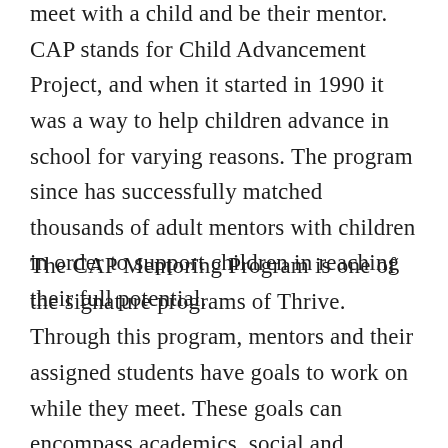meet with a child and be their mentor. CAP stands for Child Advancement Project, and when it started in 1990 it was a way to help children advance in school for varying reasons. The program since has successfully matched thousands of adult mentors with children in order to support children in reaching their full potential.
The CAP Mentoring Program is one of the signature programs of Thrive. Through this program, mentors and their assigned students have goals to work on while they meet. These goals can encompass academics, social and enrichment needs, and interests. Most importantly, these mentors volunteer to be in our